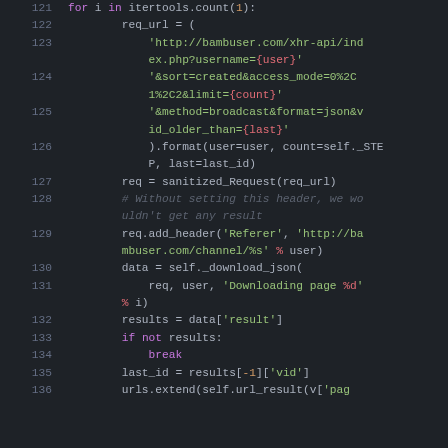[Figure (screenshot): Python source code snippet, lines 121-136, displayed in a dark-themed code editor. Shows a for loop using itertools.count(1), URL construction, HTTP requests with sanitized_Request, and result processing logic.]